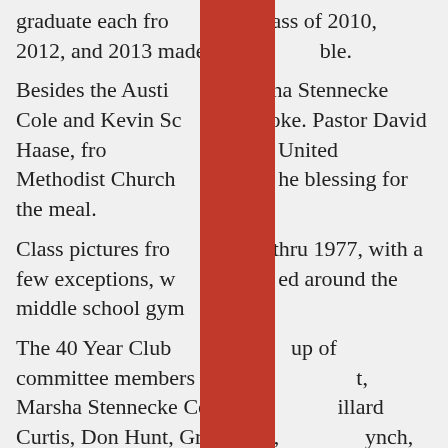graduate each from [the cl]ass of 2010, 2012, and 2013 made thi[s possi]ble. Besides the Austi[ns, Mars]ha Stennecke Cole and Kevin Sc[hafer] spoke. Pastor David Haase, from [Nort]herside United Methodist Church[, gave t]he blessing for the meal. Class pictures fro[m 1927 ]thru 1977, with a few exceptions, w[ere displac]ed around the middle school gym[nasiu]m. The 40 Year Club [was made ]up of committee members Jane Col[e Bisselan]t, Marsha Stennecke Cole, D[iana W]illard Curtis, Don Hunt, Greg Krell, [Carol L]ynch, Dorothy Quint Messinger, [Kathy W]ilson, Dawn Messinger Rouse, [and Ba]rb Flaherty Schofield. The Facebook pag[e for Sch]ervliet 40 Year Club, all class reu[nions, is ]a great source